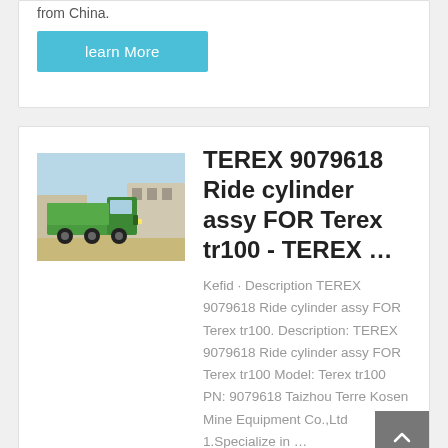from China.
learn More
TEREX 9079618 Ride cylinder assy FOR Terex tr100 - TEREX …
[Figure (photo): Green dump truck parked in front of industrial buildings under blue sky]
Kefid · Description TEREX 9079618 Ride cylinder assy FOR Terex tr100. Description: TEREX 9079618 Ride cylinder assy FOR Terex tr100 Model: Terex tr100 PN: 9079618 Taizhou Terre Kosen Mine Equipment Co.,Ltd 1.Specialize in …